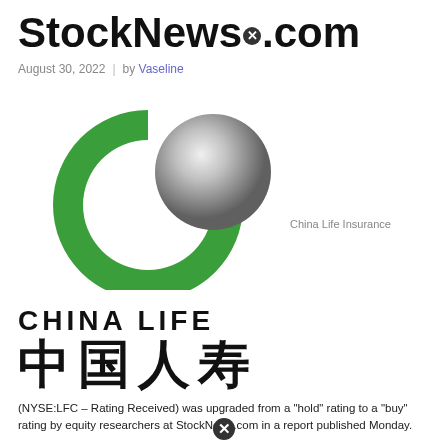StockNews.com
August 30, 2022 | by Vaseline
[Figure (logo): China Life Insurance logo - green C-shaped arc with grey sphere, CHINA LIFE text in English and Chinese (中国人寿)]
China Life Insurance
(NYSE:LFC – Rating Received) was upgraded from a "hold" rating to a "buy" rating by equity researchers at StockNews.com in a report published Monday.